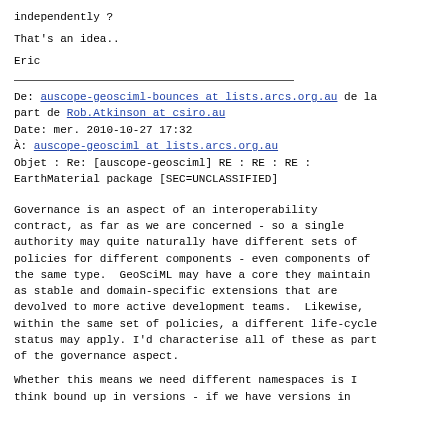independently ?
That's an idea..
Eric
De: auscope-geosciml-bounces at lists.arcs.org.au de la part de Rob.Atkinson at csiro.au
Date: mer. 2010-10-27 17:32
À: auscope-geosciml at lists.arcs.org.au
Objet : Re: [auscope-geosciml] RE : RE : RE : EarthMaterial package [SEC=UNCLASSIFIED]
Governance is an aspect of an interoperability contract, as far as we are concerned - so a single authority may quite naturally have different sets of policies for different components - even components of the same type.  GeoSciML may have a core they maintain as stable and domain-specific extensions that are devolved to more active development teams.  Likewise, within the same set of policies, a different life-cycle status may apply. I'd characterise all of these as part of the governance aspect.
Whether this means we need different namespaces is I think bound up in versions - if we have versions in